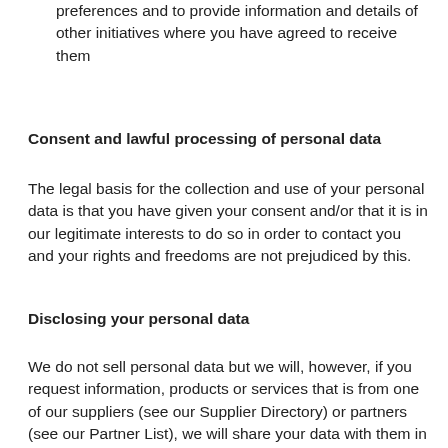preferences and to provide information and details of other initiatives where you have agreed to receive them
Consent and lawful processing of personal data
The legal basis for the collection and use of your personal data is that you have given your consent and/or that it is in our legitimate interests to do so in order to contact you and your rights and freedoms are not prejudiced by this.
Disclosing your personal data
We do not sell personal data but we will, however, if you request information, products or services that is from one of our suppliers (see our Supplier Directory) or partners (see our Partner List), we will share your data with them in order for them to deal with your request. We update the Supplier Directory and Partner List regularly and you can